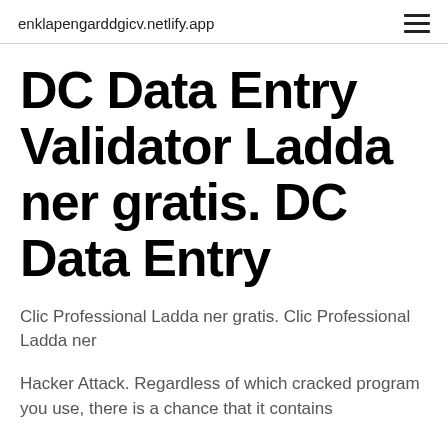enklapengarddgicv.netlify.app
DC Data Entry Validator Ladda ner gratis. DC Data Entry
Clic Professional Ladda ner gratis. Clic Professional Ladda ner
Hacker Attack. Regardless of which cracked program you use, there is a chance that it contains